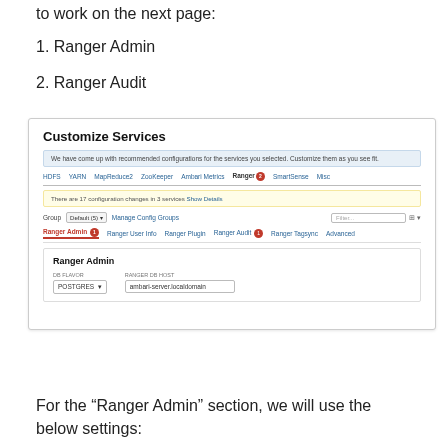to work on the next page:
1. Ranger Admin
2. Ranger Audit
[Figure (screenshot): Screenshot of Ambari 'Customize Services' page showing Ranger tab selected with Ranger Admin panel open. DB FLAVOR set to POSTGRES and Ranger DB host set to ambari-server.localdomain.]
For the “Ranger Admin” section, we will use the below settings: